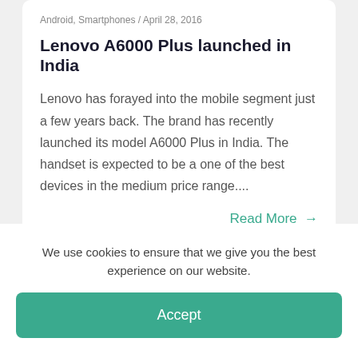Android, Smartphones / April 28, 2016
Lenovo A6000 Plus launched in India
Lenovo has forayed into the mobile segment just a few years back. The brand has recently launched its model A6000 Plus in India. The handset is expected to be a one of the best devices in the medium price range....
Read More →
We use cookies to ensure that we give you the best experience on our website.
Accept